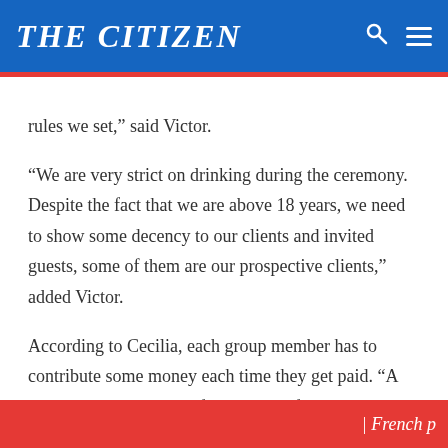THE CITIZEN
rules we set,” said Victor. “We are very strict on drinking during the ceremony. Despite the fact that we are above 18 years, we need to show some decency to our clients and invited guests, some of them are our prospective clients,” added Victor. According to Cecilia, each group member has to contribute some money each time they get paid. “A Sh20, 000 membership fee is a must for anyone who joins our group. Also each member has to contribute Sh5, 000 from earning he/she will get as payment after taking part in a
| French p